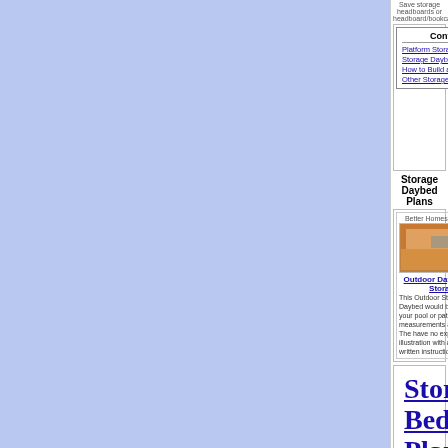[Figure (screenshot): Left blue sidebar area]
Save storage headboards or headboard/bookcases.
Contents
Platform Storage Bed Plans
Storage Daybed Plans
How to Build a Storage Bed
Other Storage Bed Plans
[Figure (photo): Platform Bed With Storage - Popular Mechanics]
Platform Bed With Storage
Kid's Platform Bed with 6 storage cubbies underneath. This bed is made with poplar and plywood. Great exploded illustrations and good instructions.
[Figure (photo): Easy Teen Platform Storage Bed - ana-white.com]
Easy Teen Platform Storage Bed
Easy to build Platform Storage Bed that fits a Queen Sized Mattress. It has a cubby hole headboard with 6 cubbies, and has diagrams, instructions and cut lists.
Storage Daybed Plans
[Figure (photo): Outdoor Daybed with Storage - Better Homes & Gardens]
Outdoor Daybed with Storage
This Outdoor Storage Daybed would be great for your pool or patio. The measurements are in metric. The have no exploded illustration with a cut list and written instructions below.
[Figure (photo): Storage Daybed - ana-white.com]
Storage Daybed
This Single Bunk Storage Bed has six 11 3/4 x 11 1/4 drawers below the bed and can be used as a Daybed. Ana as always has great diagrams and instructions.
[Figure (photo): Twin Daybed with Storage - thedesignconfidential.com]
Twin Daybed with Storage
This designer style Storage Daybed doubles as a sitting area during the day and a bed at night with three 36 inch drawers underneath. Great building instructions and diagrams.
Storage Bed Plans
If you need some extra storage in your bedroom why don't you build one of these 20 Storage Beds and save some space.
Free Indoor Putting Green Plans
We have 5 Indoor Putting Green Plans listed. Wouldn't it be nice to be able to practice your putt setups indoors. These free plans should give you some great ideas for some DIY